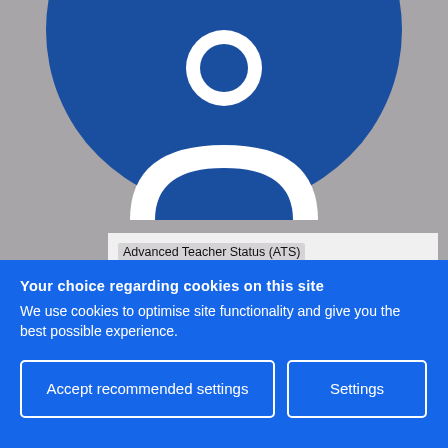[Figure (logo): Blue circular logo with white key/person symbol on gray background, partially cropped at top]
Advanced Teacher Status (ATS)
Professional development
Improving your practice
Practitioner research
THE IMPORTANCE OF LITERACY AND NUMERACY SKILLS IN THE
Your choice regarding cookies on this site
We use cookies to optimise site functionality and give you the best possible experience.
Accept recommended settings
Settings